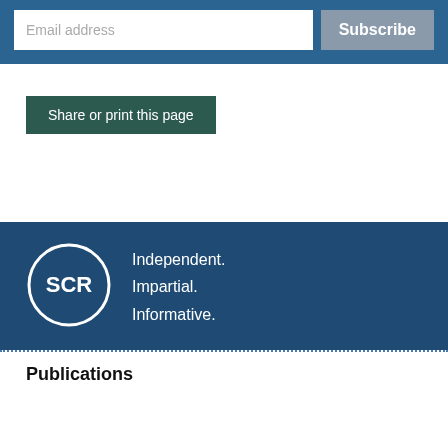Email address
Subscribe
Share or print this page
[Figure (logo): SCR logo circle with text Independent. Impartial. Informative.]
Publications